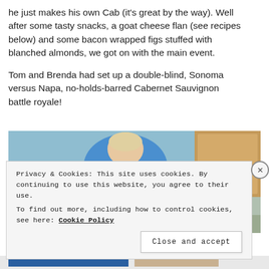he just makes his own Cab (it's great by the way).  Well after some tasty snacks, a goat cheese flan (see recipes below) and some bacon wrapped figs stuffed with blanched almonds, we got on with the main event.
Tom and Brenda had set up a double-blind, Sonoma versus Napa, no-holds-barred Cabernet Sauvignon battle royale!
[Figure (photo): A woman in a blue sweater standing behind a kitchen counter with multiple wine bottles wrapped in paper bags arranged in front of her.]
Privacy & Cookies: This site uses cookies. By continuing to use this website, you agree to their use.
To find out more, including how to control cookies, see here: Cookie Policy
Close and accept